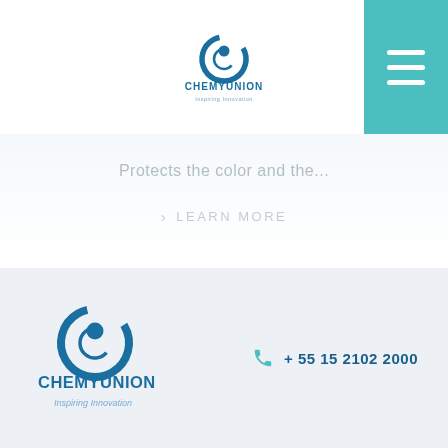[Figure (logo): Chemyunion logo in header — blue circular design with swoosh and dot, text CHEMYUNION below, tagline Inspiring Innovation]
[Figure (other): Teal hamburger menu button in top right corner with three white horizontal lines]
Protects the color and the...
> LEARN MORE
[Figure (logo): Large Chemyunion logo in footer — blue circular swoosh with dot, CHEMYUNION text bold, Inspiring Innovation tagline]
+ 55 15 2102 2000